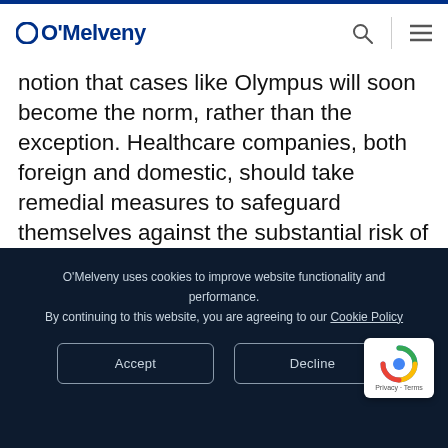O'Melveny
notion that cases like Olympus will soon become the norm, rather than the exception. Healthcare companies, both foreign and domestic, should take remedial measures to safeguard themselves against the substantial risk of liability presented by joint enforcement under the AKS and FCPA. Essential steps include educating employees about the risks that these statutes present
O'Melveny uses cookies to improve website functionality and performance. By continuing to this website, you are agreeing to our Cookie Policy
Accept
Decline